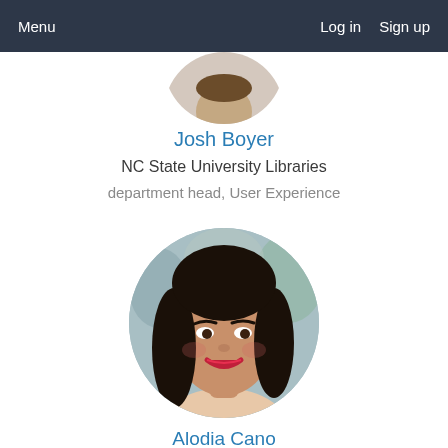Menu   Log in   Sign up
[Figure (photo): Circular profile photo of Josh Boyer, partially cropped at top]
Josh Boyer
NC State University Libraries
department head, User Experience
[Figure (photo): Circular profile photo of Alodia Cano, a woman with long dark hair and red lipstick, smiling]
Alodia Cano
Bluespark